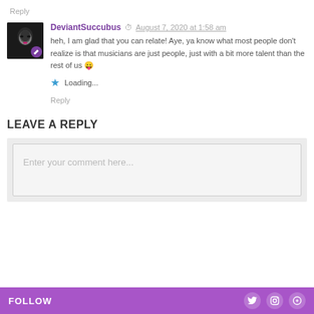Reply
DeviantSuccubus · August 7, 2020 at 1:58 am
heh, I am glad that you can relate! Aye, ya know what most people don't realize is that musicians are just people, just with a bit more talent than the rest of us 😛
Loading...
Reply
LEAVE A REPLY
Enter your comment here...
FOLLOW